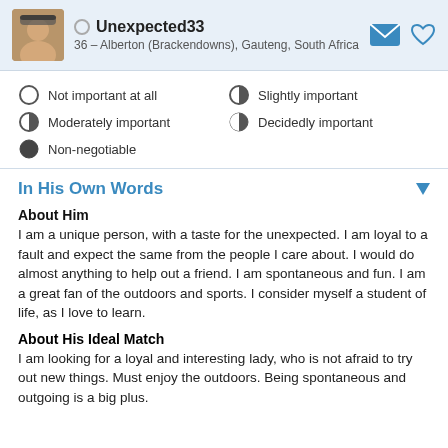Unexpected33 — 36 – Alberton (Brackendowns), Gauteng, South Africa
Not important at all
Slightly important
Moderately important
Decidedly important
Non-negotiable
In His Own Words
About Him
I am a unique person, with a taste for the unexpected. I am loyal to a fault and expect the same from the people I care about. I would do almost anything to help out a friend. I am spontaneous and fun. I am a great fan of the outdoors and sports. I consider myself a student of life, as I love to learn.
About His Ideal Match
I am looking for a loyal and interesting lady, who is not afraid to try out new things. Must enjoy the outdoors. Being spontaneous and outgoing is a big plus.